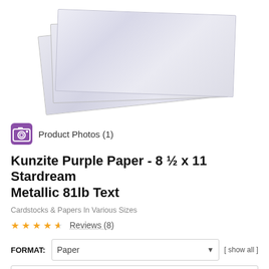[Figure (photo): Stack of three sheets of Kunzite Purple metallic paper shown at a slight angle, appearing light lavender/silver colored.]
Product Photos (1)
Kunzite Purple Paper - 8 ½ x 11 Stardream Metallic 81lb Text
Cardstocks & Papers In Various Sizes
★★★★½ Reviews (8)
FORMAT: Paper [ show all ]